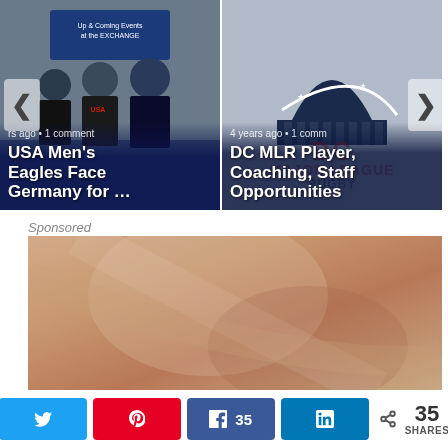[Figure (photo): Carousel with two article cards. Left card shows a photo of men at a USA rugby event booth with text 'rs ago • 1 comment' and title 'USA Men's Eagles Face Germany for …'. Right card shows a DC MLR (Major League Rugby) logo with Capitol dome graphic, text '4 years ago • 1 comm' and title 'DC MLR Player, Coaching, Staff Opportunities'. Left and right navigation arrows visible.]
Sponsored
[Figure (photo): Sponsored content image showing a close-up skin/body photo in warm tan/brown tones.]
[Figure (infographic): Social share bar at the bottom with Twitter, Pinterest (Pin), Facebook (Share 35), LinkedIn share buttons and a total count of 35 SHARES.]